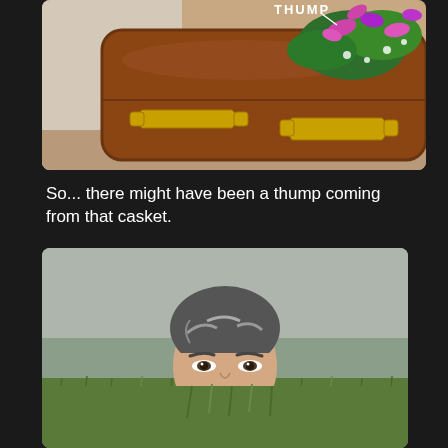[Figure (illustration): Comic-style illustration of a brown wooden casket with gold handles and a floral arrangement of green leaves and pink/purple flowers on top. The word 'THUMP' is written in white text above the casket.]
So... there might have been a thump coming from that casket.
[Figure (photo): A photograph of a middle-aged man with gray-streaked dark hair, eyes just visible above a field of green grass, with an overcast sky in the background. The man appears to be peering over or lying in tall grass.]